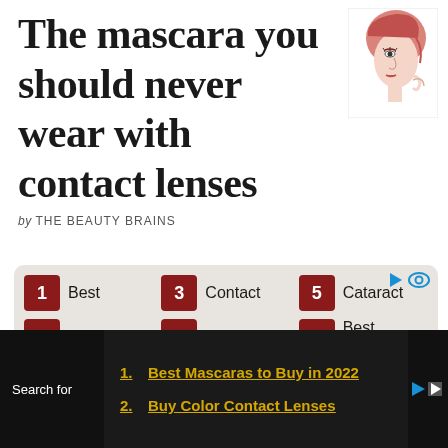The mascara you should never wear with contact lenses
by THE BEAUTY BRAINS
[Figure (illustration): Line art illustration of a woman's face profile with red hair, touching her face]
[Figure (infographic): Ad widget with 6 numbered links: 1 Best, 2 Buy Color, 3 Contact, 4 Progressive, 5 Cataract, 6 Best Contact]
Search for
1. Best Mascaras to Buy in 2022
2. Buy Color Contact Lenses